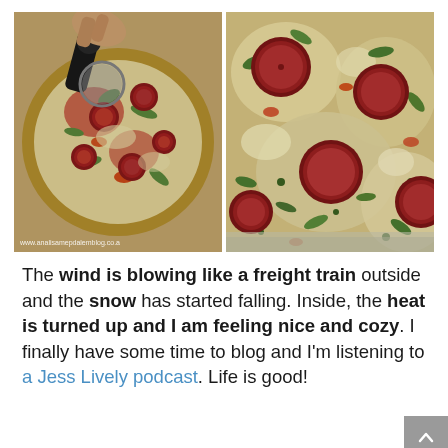[Figure (photo): Two side-by-side photos of pizza with pepperoni, green peppers, and melted cheese. Left image shows a hand holding a pizza cutter over a round pizza. Right image shows a close-up top-down view of a rectangular pizza with toppings. Watermark text 'www.analisamepdalemblog.co.a' visible on bottom-left of left photo.]
The wind is blowing like a freight train outside and the snow has started falling. Inside, the heat is turned up and I am feeling nice and cozy. I finally have some time to blog and I'm listening to a Jess Lively podcast. Life is good!